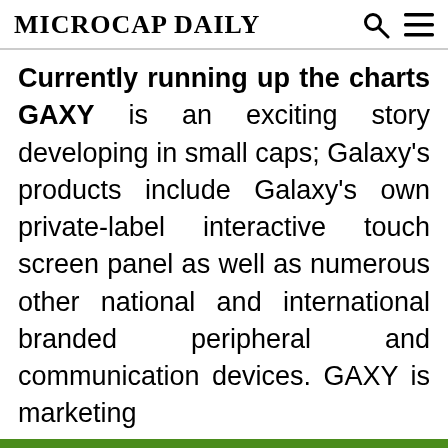MICROCAP DAILY
Currently running up the charts GAXY is an exciting story developing in small caps; Galaxy's products include Galaxy's own private-label interactive touch screen panel as well as numerous other national and international branded peripheral and communication devices. GAXY is marketing
Sign up now for our 100% FREE Penny Stock Newsletter
ENTER YOUR EMAIL HERE
SUBSCRIBE NOW!